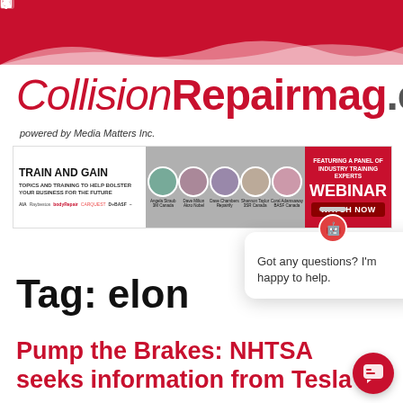CollisionRepairmag.com – social media header bar with icons: Facebook, Twitter, Instagram, LinkedIn, YouTube, TikTok
CollisionRepairmag.com
powered by Media Matters Inc.
[Figure (infographic): Train and Gain webinar advertisement banner featuring panel of industry training experts with headshots and Watch Now button]
Tag: elon
[Figure (screenshot): Chatbot popup bubble saying 'Got any questions? I'm happy to help.' with a robot mascot icon]
Pump the Brakes: NHTSA seeks information from Tesla